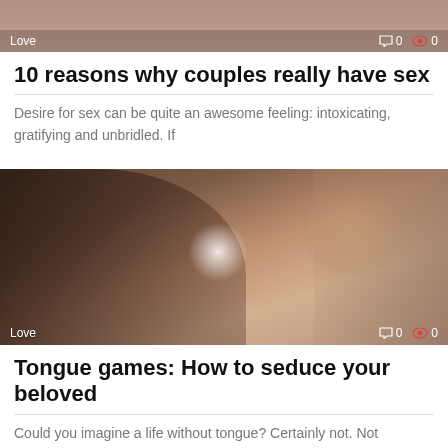[Figure (photo): Partial view of a photo with 'Love' label and interaction icons showing 0 comments and 0 views]
10 reasons why couples really have sex
Desire for sex can be quite an awesome feeling: intoxicating, gratifying and unbridled. If
[Figure (photo): Photo of a couple kissing/about to kiss in close-up, with 'Love' label and interaction icons showing 0 comments and 0 views]
Tongue games: How to seduce your beloved
Could you imagine a life without tongue? Certainly not. Not surprising, after all, the